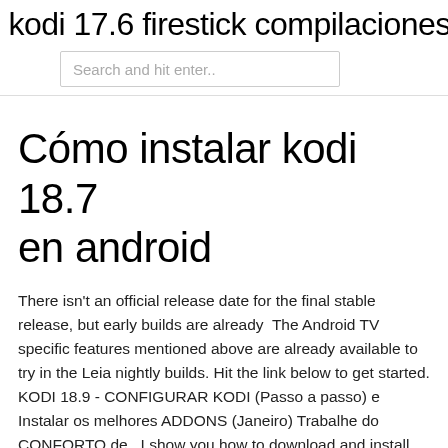kodi 17.6 firestick compilaciones 202…
Search and hit enter..
Cómo instalar kodi 18.7 en android
There isn't an official release date for the final stable release, but early builds are already  The Android TV specific features mentioned above are already available to try in the Leia nightly builds. Hit the link below to get started. KODI 18.9 - CONFIGURAR KODI (Passo a passo) e Instalar os melhores ADDONS (Janeiro) Trabalhe do CONFORTO de   I show you how to download and install Kodi 18 using es file manager on Amazon fire stick.
Kodi V 18.7 APK – APK